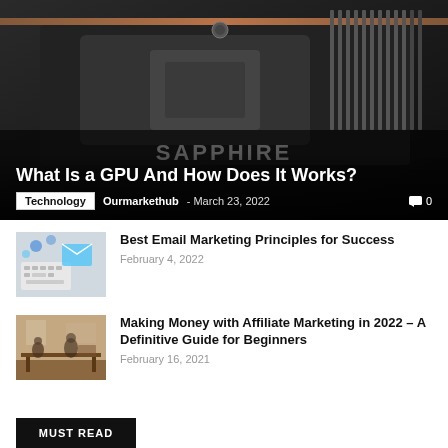[Figure (photo): Close-up photo of a Sapphire GPU graphics card with dark background]
What Is a GPU And How Does It Works?
Technology  Ourmarkethub - March 23, 2022  0
[Figure (photo): Person typing on keyboard with email marketing icons]
Best Email Marketing Principles for Success
February 4, 2022
[Figure (photo): People in a co-working office space]
Making Money with Affiliate Marketing in 2022 – A Definitive Guide for Beginners
February 16, 2021
MUST READ